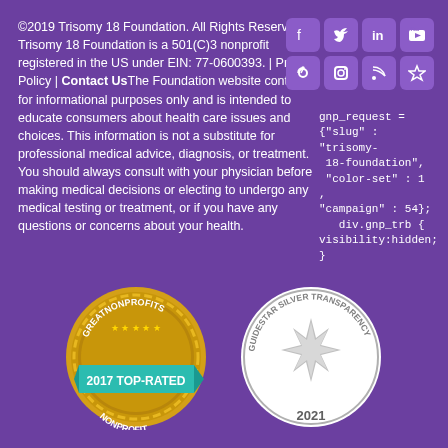©2019 Trisomy 18 Foundation. All Rights Reserved. Trisomy 18 Foundation is a 501(C)3 nonprofit registered in the US under EIN: 77-0600393. | Privacy Policy | Contact UsThe Foundation website content is for informational purposes only and is intended to educate consumers about health care issues and choices. This information is not a substitute for professional medical advice, diagnosis, or treatment. You should always consult with your physician before making medical decisions or electing to undergo any medical testing or treatment, or if you have any questions or concerns about your health.
[Figure (infographic): Social media icons: Facebook, Twitter, LinkedIn, YouTube, Pinterest, Instagram, RSS, Favorites - displayed in a 4x2 grid of rounded square icon boxes on purple background]
gnp_request = {"slug" : "trisomy-18-foundation", "color-set" : 1 , "campaign" : 54}; div.gnp_trb { visibility:hidden; }
[Figure (logo): GreatNonprofits 2017 Top-Rated Nonprofit badge - circular gold seal with teal ribbon banner]
[Figure (logo): GuideStar Silver Transparency 2021 badge - circular silver seal with star burst design]